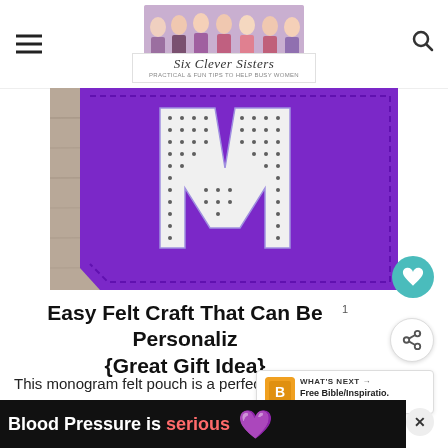Six Clever Sisters
[Figure (photo): Purple felt monogram pouch with decorative letter M stitched in black and white patterned fabric, placed on a wood surface]
Easy Felt Craft That Can Be Personaliz {Great Gift Idea}
This monogram felt pouch is a perfect gift for someone you love, and it's so neat to give something personalized just for them!  I like to give people handmade gifts, and I love to talk about
[Figure (infographic): Blood Pressure is serious advertisement banner with purple heart icon on black background]
[Figure (infographic): What's Next panel: Free Bible/Inspiratio. promo with icon]